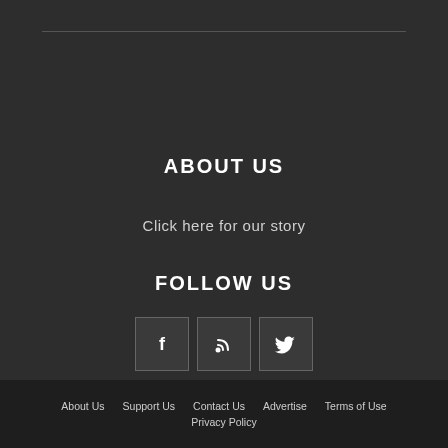ABOUT US
Click here for our story
FOLLOW US
[Figure (other): Three social media icon buttons: Facebook (f), RSS feed, and Twitter bird]
About Us  Support Us  Contact Us  Advertise  Terms of Use  Privacy Policy